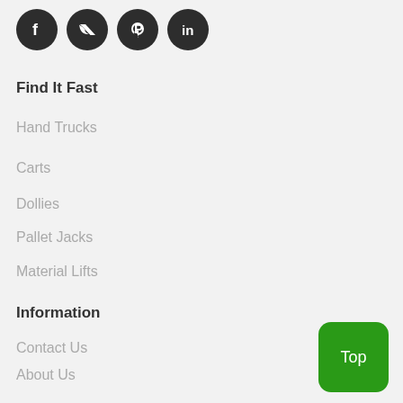[Figure (other): Social media icon buttons: Facebook, Twitter, Pinterest, LinkedIn]
Find It Fast
Hand Trucks
Carts
Dollies
Pallet Jacks
Material Lifts
Information
Contact Us
About Us
Sitemap
Handtrucksrus.Com Blog